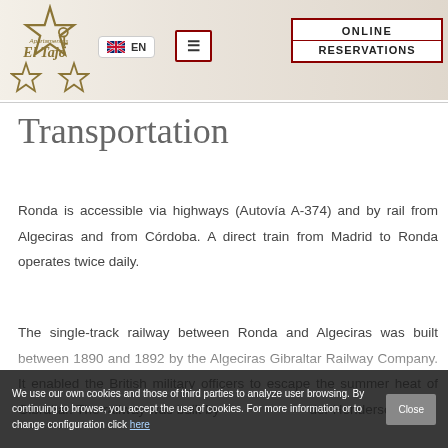Apartamentos El Tajo — EN | ONLINE RESERVATIONS
Transportation
Ronda is accessible via highways (Autovía A-374) and by rail from Algeciras and from Córdoba. A direct train from Madrid to Ronda operates twice daily.
The single-track railway between Ronda and Algeciras was built between 1890 and 1892 by the Algeciras Gibraltar Railway Company. It enabled the British military officers to escape the summer heat of Gibraltar. The railway was built by Alexander Henderson,
We use our own cookies and those of third parties to analyze user browsing. By continuing to browse, you accept the use of cookies. For more information or to change configuration click here